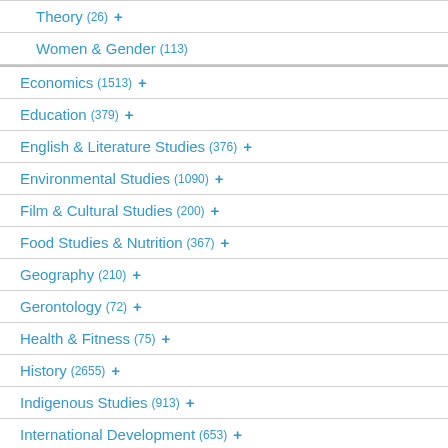Theory (26) +
Women & Gender (113)
Economics (1513) +
Education (379) +
English & Literature Studies (376) +
Environmental Studies (1090) +
Film & Cultural Studies (200) +
Food Studies & Nutrition (367) +
Geography (210) +
Gerontology (72) +
Health & Fitness (75) +
History (2655) +
Indigenous Studies (913) +
International Development (653) +
Labour Studies (492) +
Law (2791) +